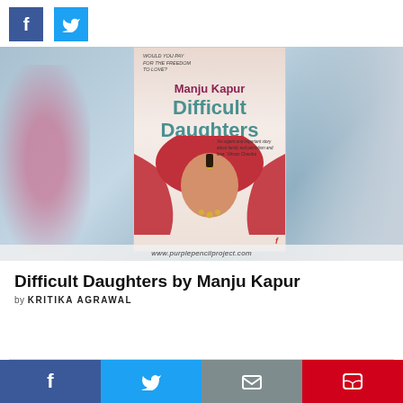[Figure (illustration): Social share buttons at top: Facebook (blue square with 'f') and Twitter (blue square with bird icon)]
[Figure (photo): Book cover of 'Difficult Daughters' by Manju Kapur (Faber edition), showing a woman in a red dupatta with ornate jewelry, against a blurred background of women. Website watermark: www.purplepencilproject.com]
Difficult Daughters by Manju Kapur
by KRITIKA AGRAWAL
[Figure (infographic): Bottom share bar with four buttons: Facebook (dark blue), Twitter (light blue), Email (grey), Pocket (red)]